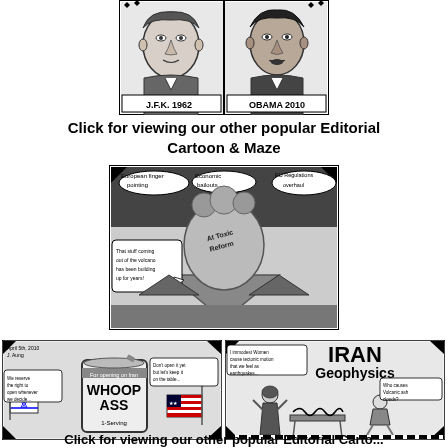[Figure (illustration): Editorial cartoon showing two portrait sketches side by side: JFK 1962 on the left and Obama 2010 on the right, drawn in black and white pen style]
Click for viewing our other popular Editorial Cartoon & Maze
[Figure (illustration): Editorial cartoon showing a volcanic eruption with speech bubbles labeled 'European finger pointing', 'Economic bailouts', 'EU Regulations overhaul', and a figure saying 'That stuff coming out of the volcano has been building up for years!']
[Figure (illustration): Two side-by-side editorial cartoons. Left: A can labeled 'WHOOP ASS - For opening on Iran - 1 Serving' with figures including Israeli flag; speech bubbles say 'We reserve the right to open whenever we decide...' and 'Don't open it yet but let's keep it on the table...'. Right: 'IRAN Geophysics' cartoon showing immodest women causing tectonic motion as earthquakes, with question 'Who causes Volcanic ash clouds?']
Click for viewing our other popular Editorial Carto...